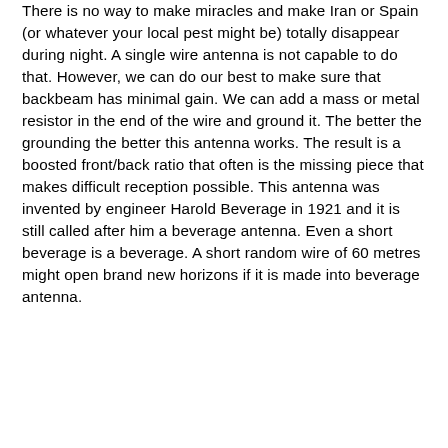There is no way to make miracles and make Iran or Spain (or whatever your local pest might be) totally disappear during night. A single wire antenna is not capable to do that. However, we can do our best to make sure that backbeam has minimal gain. We can add a mass or metal resistor in the end of the wire and ground it. The better the grounding the better this antenna works. The result is a boosted front/back ratio that often is the missing piece that makes difficult reception possible. This antenna was invented by engineer Harold Beverage in 1921 and it is still called after him a beverage antenna. Even a short beverage is a beverage. A short random wire of 60 metres might open brand new horizons if it is made into beverage antenna.